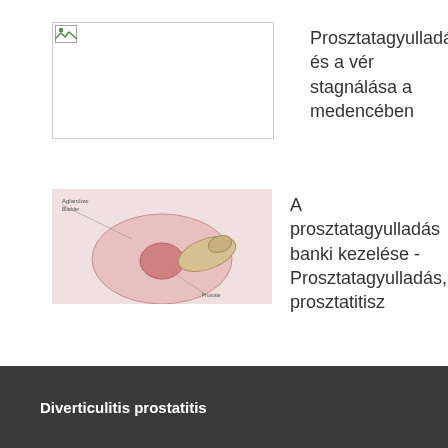[Figure (photo): Placeholder image thumbnail with broken image icon and border]
Prosztatagyulladás és a vér stagnálása a medencében
[Figure (illustration): Medical illustration showing prostate examination procedure with gloved hand]
A prosztatagyulladás banki kezelése - Prosztatagyulladás, prosztatitisz
Diverticulitis prostatitis